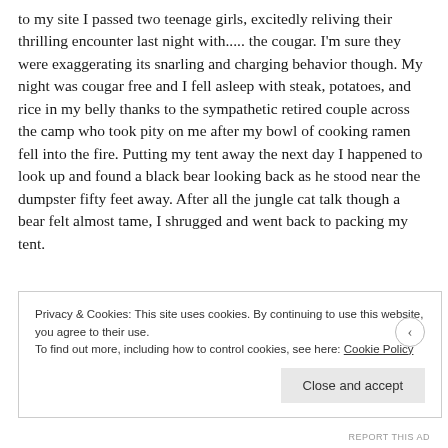to my site I passed two teenage girls, excitedly reliving their thrilling encounter last night with..... the cougar. I'm sure they were exaggerating its snarling and charging behavior though. My night was cougar free and I fell asleep with steak, potatoes, and rice in my belly thanks to the sympathetic retired couple across the camp who took pity on me after my bowl of cooking ramen fell into the fire. Putting my tent away the next day I happened to look up and found a black bear looking back as he stood near the dumpster fifty feet away. After all the jungle cat talk though a bear felt almost tame, I shrugged and went back to packing my tent.
Privacy & Cookies: This site uses cookies. By continuing to use this website, you agree to their use.
To find out more, including how to control cookies, see here: Cookie Policy
Close and accept